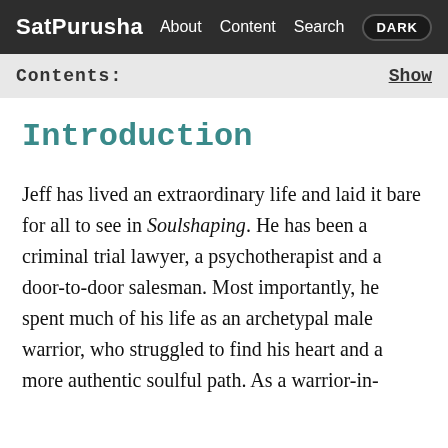SatPurusha   About Content Search   DARK
Contents:   Show
Introduction
Jeff has lived an extraordinary life and laid it bare for all to see in Soulshaping. He has been a criminal trial lawyer, a psychotherapist and a door-to-door salesman. Most importantly, he spent much of his life as an archetypal male warrior, who struggled to find his heart and a more authentic soulful path. As a warrior-in-